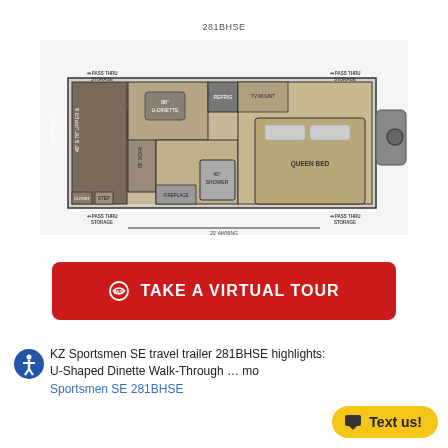281BHSE
[Figure (schematic): Floor plan of KZ Sportsmen SE 281BHSE travel trailer showing pass-thru storage on four corners, 88" U-Dinette, refrigerator, 40" x 76" upper & lower double over bunk, 79" sofa, closet, step, fireplace, 40" shower, TV mount, queen bed, and 20' awning.]
[Figure (other): Red button: 360° TAKE A VIRTUAL TOUR]
KZ Sportsmen SE travel trailer 281BHSE highlights: U-Shaped Dinette Walk-Through … more Sportsmen SE 281BHSE